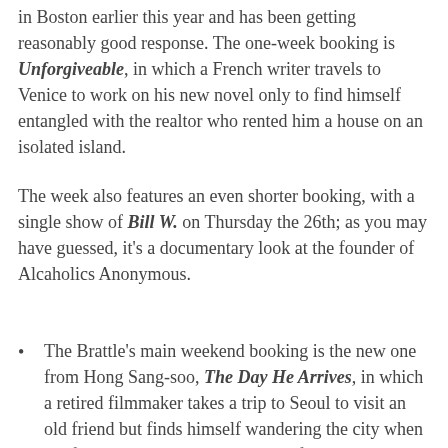in Boston earlier this year and has been getting reasonably good response. The one-week booking is Unforgiveable, in which a French writer travels to Venice to work on his new novel only to find himself entangled with the realtor who rented him a house on an isolated island.
The week also features an even shorter booking, with a single show of Bill W. on Thursday the 26th; as you may have guessed, it's a documentary look at the founder of Alcaholics Anonymous.
The Brattle's main weekend booking is the new one from Hong Sang-soo, The Day He Arrives, in which a retired filmmaker takes a trip to Seoul to visit an old friend but finds himself wandering the city when the friend doesn't show. It's a sort of artsy, meditative drama type of thing. It splits the screen with the latest installment of "Hooked on